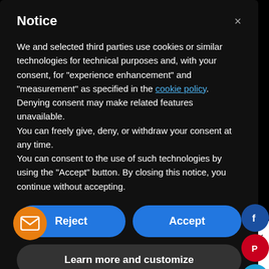Notice
We and selected third parties use cookies or similar technologies for technical purposes and, with your consent, for “experience enhancement” and “measurement” as specified in the cookie policy. Denying consent may make related features unavailable.
You can freely give, deny, or withdraw your consent at any time.
You can consent to the use of such technologies by using the “Accept” button. By closing this notice, you continue without accepting.
Reject
Accept
Learn more and customize
[Figure (infographic): Social media icons on right side: Facebook (dark blue), Pinterest (red), Twitter (cyan), Instagram (pink)]
[Figure (infographic): Orange email/envelope circular button at bottom left]
s won’t do the trick. However, what if we decreased the luminance of red and orange as well?